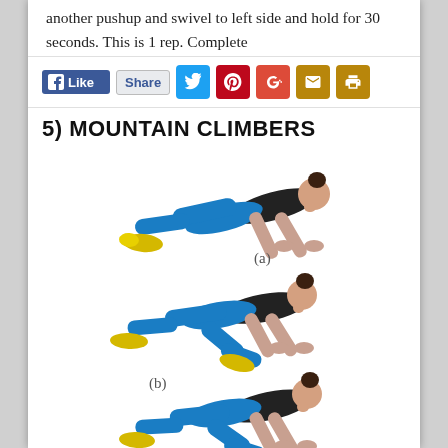another pushup and swivel to left side and hold for 30 seconds. This is 1 rep. Complete
[Figure (infographic): Social media sharing bar with Facebook Like, Share, Twitter, Pinterest, Google+, Email, and Print buttons]
5) MOUNTAIN CLIMBERS
[Figure (photo): Three sequential photos of a woman performing mountain climbers exercise: (a) plank/starting position, (b) mid-movement with knee drawn in, (c) alternate knee drawn in. Woman wears blue leggings, black sports top, and yellow sneakers.]